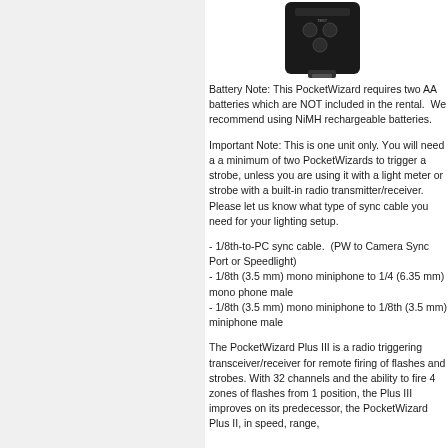[Figure (photo): Photo of a PocketWizard Plus III device, black with control buttons visible on front face]
Battery Note: This PocketWizard requires two AA batteries which are NOT included in the rental.  We recommend using NiMH rechargeable batteries.
Important Note: This is one unit only. You will need a a minimum of two PocketWizards to trigger a strobe, unless you are using it with a light meter or strobe with a built-in radio transmitter/receiver. Please let us know what type of sync cable you need for your lighting setup.
- 1/8th-to-PC sync cable.  (PW to Camera Sync Port or Speedlight)
- 1/8th (3.5 mm) mono miniphone to 1/4 (6.35 mm) mono phone male
- 1/8th (3.5 mm) mono miniphone to 1/8th (3.5 mm) miniphone male
The PocketWizard Plus III is a radio triggering transceiver/receiver for remote firing of flashes and strobes. With 32 channels and the ability to fire 4 zones of flashes from 1 position, the Plus III improves on its predecessor, the PocketWizard Plus II, in speed, range,